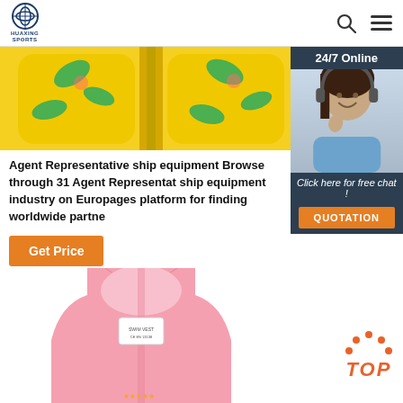HUAXING SPORTS
[Figure (photo): Yellow children's swim vest/floaties with green leaf print, product top portion]
[Figure (photo): Customer service representative with headset, 24/7 Online chat panel with QUOTATION button]
Agent Representative ship equipment Browse through 31 Agent Representative ship equipment industry on Europages platform for finding worldwide partners
Get Price
[Figure (photo): Pink children's swim vest, bottom portion visible]
[Figure (logo): TOP button with orange dots above text]